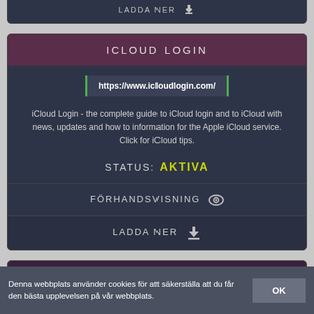LADDA NER ↓
ICLOUD LOGIN
https://www.icloudlogin.com/
iCloud Login - the complete guide to iCloud login and to iCloud with news, updates and how to information for the Apple iCloud service. Click for iCloud tips.
STATUS: AKTIVA
FÖRHANDSVISNING 👁
LADDA NER ↓
HOW TO SET UP AN ICLOUD EMAIL ACCOUNT ON ANDROID |
Denna webbplats använder cookies för att säkerställa att du får den bästa upplevelsen på vår webbplats.